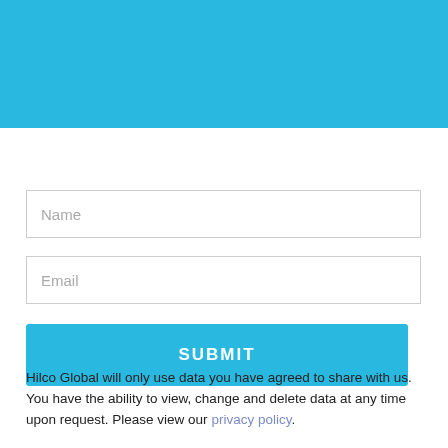[Figure (other): Solid sky-blue header banner filling top portion of page]
Name
Email
SUBMIT
Hilco Global will only use data you have agreed to share with us. You have the ability to view, change and delete data at any time upon request. Please view our privacy policy.